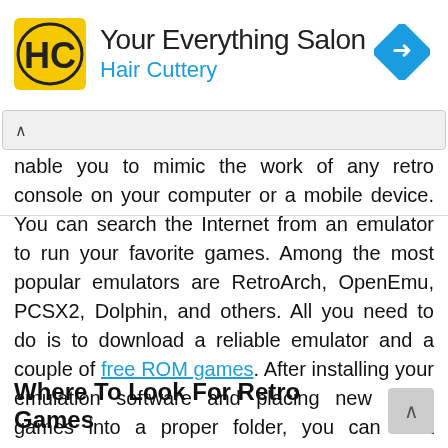[Figure (advertisement): Hair Cuttery advertisement banner with yellow HC logo, title 'Your Everything Salon', subtitle 'Hair Cuttery', and a blue diamond navigation arrow icon on the right.]
nable you to mimic the work of any retro console on your computer or a mobile device. You can search the Internet from an emulator to run your favorite games. Among the most popular emulators are RetroArch, OpenEmu, PCSX2, Dolphin, and others. All you need to do is to download a reliable emulator and a couple of free ROM games. After installing your emulation software and placing new ROM games into a proper folder, you can start running retro games on your PC or smartphone.
Where To Look For Retro Games